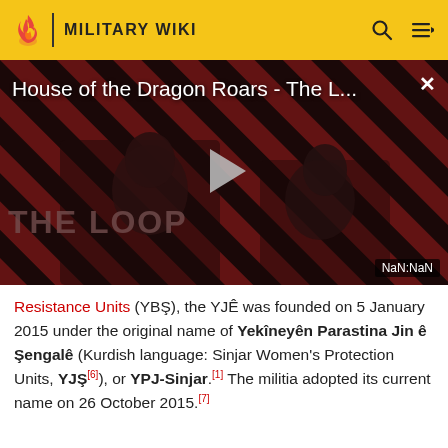MILITARY WIKI
[Figure (screenshot): Video thumbnail for 'House of the Dragon Roars - The L...' with a play button, two figures visible, diagonal red and black stripes background, 'THE LOOP' text, and a NaN:NaN timestamp label. Close button (X) in top right.]
Resistance Units (YBŞ), the YJÊ was founded on 5 January 2015 under the original name of Yekîneyên Parastina Jin ê Şengalê (Kurdish language: Sinjar Women's Protection Units, YJŞ[6]), or YPJ-Sinjar.[1] The militia adopted its current name on 26 October 2015.[7]